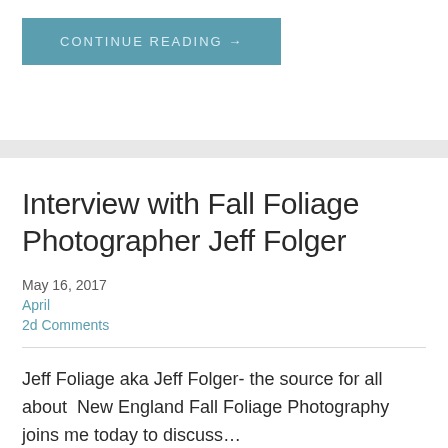CONTINUE READING →
Interview with Fall Foliage Photographer Jeff Folger
May 16, 2017
April
2d Comments
Jeff Foliage aka Jeff Folger- the source for all about  New England Fall Foliage Photography joins me today to discuss…